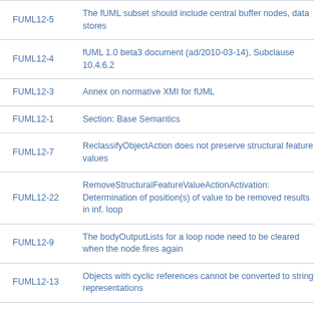| ID | Description |
| --- | --- |
| FUML12-5 | The fUML subset should include central buffer nodes, data stores |
| FUML12-4 | fUML 1.0 beta3 document (ad/2010-03-14), Subclause 10.4.6.2 |
| FUML12-3 | Annex on normative XMI for fUML |
| FUML12-1 | Section: Base Semantics |
| FUML12-7 | ReclassifyObjectAction does not preserve structural feature values |
| FUML12-22 | RemoveStructuralFeatureValueActionActivation: Determination of position(s) of value to be removed results in inf. loop |
| FUML12-9 | The bodyOutputLists for a loop node need to be cleared when the node fires again |
| FUML12-13 | Objects with cyclic references cannot be converted to string representations |